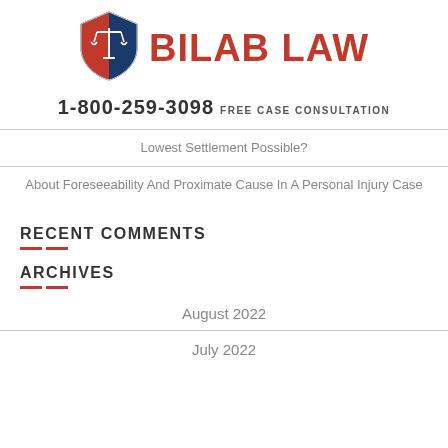[Figure (logo): Bilab Law shield logo with scales of justice, red and blue colors]
BILAB LAW
1-800-259-3098 FREE CASE CONSULTATION
Lowest Settlement Possible?
About Foreseeability And Proximate Cause In A Personal Injury Case
RECENT COMMENTS
ARCHIVES
August 2022
July 2022